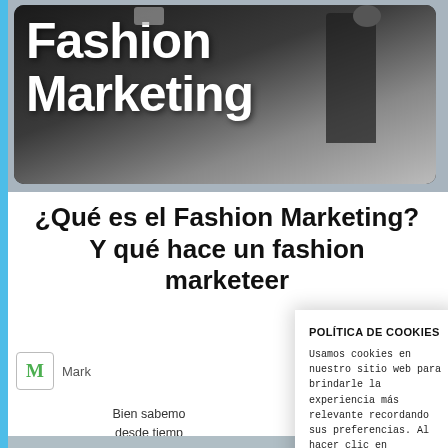[Figure (photo): Fashion Marketing banner image with bold white text on dark background showing 'Fashion Marketing', with a fashion model in the background]
¿Qué es el Fashion Marketing? Y qué hace un fashion marketeer
Mark
Bien sabemo... desde tiemp... han sido... antepasa...
POLÍTICA DE COOKIES
Usamos cookies en nuestro sitio web para brindarle la experiencia más relevante recordando sus preferencias. Al hacer clic en "Aceptar" da consentimiento para su uso.
Aceptar